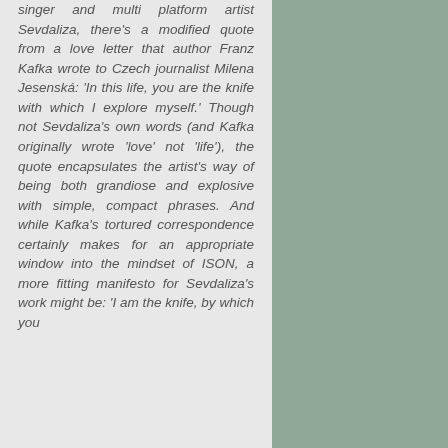singer and multi platform artist Sevdaliza, there's a modified quote from a love letter that author Franz Kafka wrote to Czech journalist Milena Jesenská: 'In this life, you are the knife with which I explore myself.' Though not Sevdaliza's own words (and Kafka originally wrote 'love' not 'life'), the quote encapsulates the artist's way of being both grandiose and explosive with simple, compact phrases. And while Kafka's tortured correspondence certainly makes for an appropriate window into the mindset of ISON, a more fitting manifesto for Sevdaliza's work might be: 'I am the knife, by which you